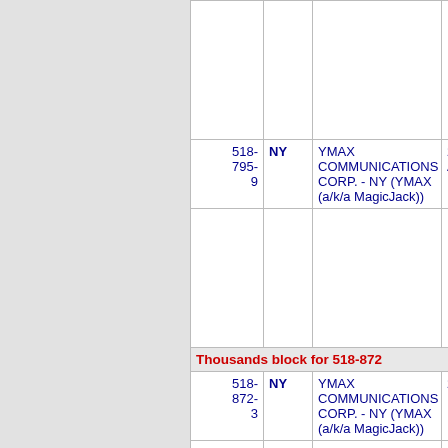| Number | State | Company Name | Code |
| --- | --- | --- | --- |
| 518-795-9 | NY | YMAX COMMUNICATIONS CORP. - NY (YMAX (a/k/a MagicJack)) | 282E A |
| Thousands block for 518-872 |  |  |  |
| 518-872-3 | NY | YMAX COMMUNICATIONS CORP. - NY (YMAX (a/k/a MagicJack)) | 282E B |